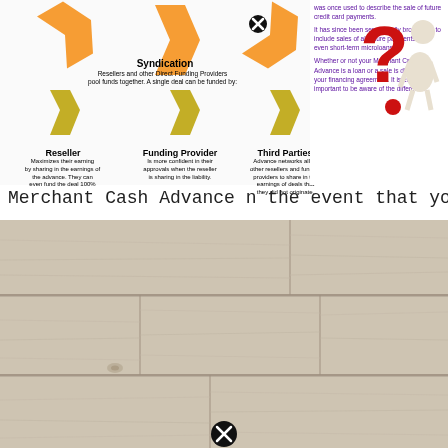[Figure (infographic): Merchant Cash Advance syndication infographic showing orange arrows at top, Syndication label with description, and three bottom items: Reseller, Funding Provider, Third Parties with gold/dark-yellow arrows pointing down. Right sidebar explains MCA terminology in purple text with question mark figure.]
Merchant Cash Advance n the event that you require fast
[Figure (photo): Close-up photo of light-colored wood laminate flooring planks with visible grain and seams, with a close/X button overlay at the bottom center.]